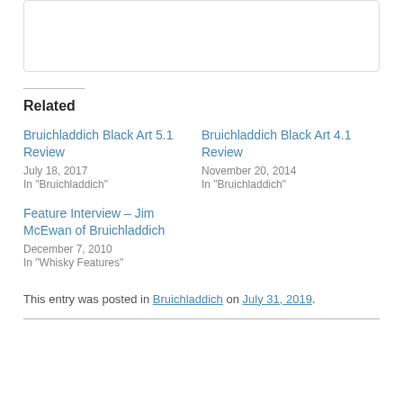[Figure (other): Comment text input box, bordered rectangle]
Related
Bruichladdich Black Art 5.1 Review
July 18, 2017
In "Bruichladdich"
Bruichladdich Black Art 4.1 Review
November 20, 2014
In "Bruichladdich"
Feature Interview – Jim McEwan of Bruichladdich
December 7, 2010
In "Whisky Features"
This entry was posted in Bruichladdich on July 31, 2019.